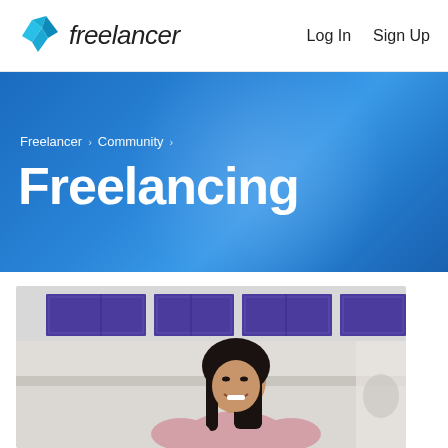Freelancer | Log In | Sign Up
[Figure (screenshot): Blue gradient hero banner with breadcrumb navigation 'Freelancer › Community ›' and large bold white title 'Freelancing']
[Figure (photo): Photo of a smiling Asian woman with long dark hair in a modern kitchen/office with purple-blue cabinets in the background]